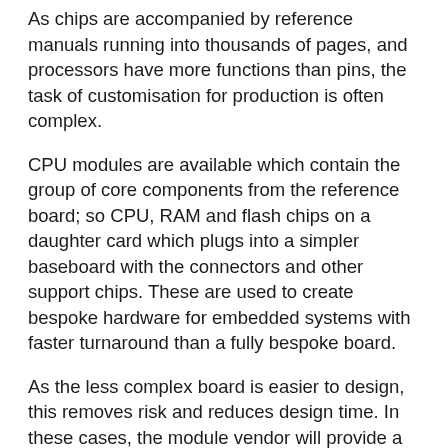As chips are accompanied by reference manuals running into thousands of pages, and processors have more functions than pins, the task of customisation for production is often complex.
CPU modules are available which contain the group of core components from the reference board; so CPU, RAM and flash chips on a daughter card which plugs into a simpler baseboard with the connectors and other support chips. These are used to create bespoke hardware for embedded systems with faster turnaround than a fully bespoke board.
As the less complex board is easier to design, this removes risk and reduces design time. In these cases, the module vendor will provide a BSP which will be based on the original CPU vendor's BSP and will normally be production hardened.
Some vendors spend more effort ironing out issues